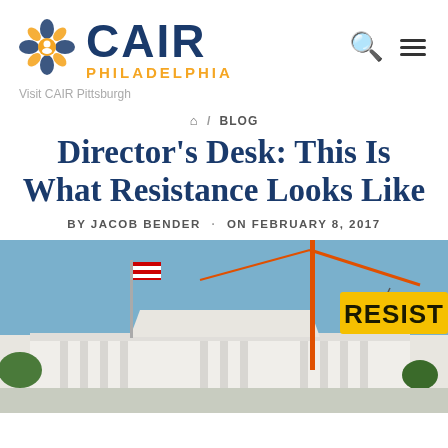CAIR PHILADELPHIA — Visit CAIR Pittsburgh
🏠 / BLOG
Director's Desk: This Is What Resistance Looks Like
BY JACOB BENDER · ON FEBRUARY 8, 2017
[Figure (photo): Photo showing the White House with a construction crane in the background flying a yellow banner reading RESIST]